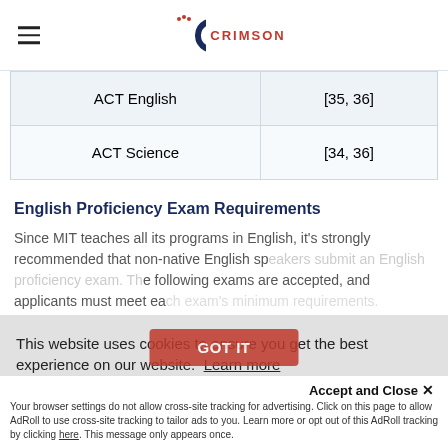CRIMSON
| Subject | Score Range |
| --- | --- |
| ACT English | [35, 36] |
| ACT Science | [34, 36] |
English Proficiency Exam Requirements
Since MIT teaches all its programs in English, it's strongly recommended that non-native English speakers submit an English proficiency exam. The following exams are accepted, and applicants must meet each exam's minimum requirements.
This website uses cookies to ensure you get the best experience on our website. Learn more
Accept and Close ✕
Your browser settings do not allow cross-site tracking for advertising. Click on this page to allow AdRoll to use cross-site tracking to tailor ads to you. Learn more or opt out of this AdRoll tracking by clicking here. This message only appears once.